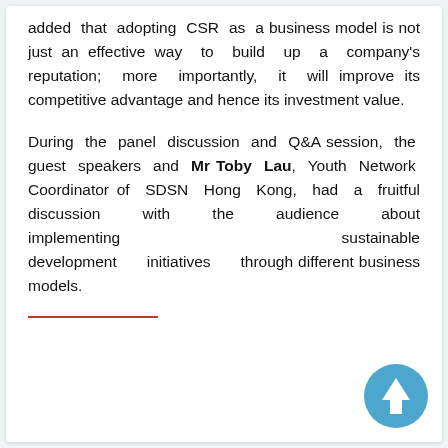added that adopting CSR as a business model is not just an effective way to build up a company's reputation; more importantly, it will improve its competitive advantage and hence its investment value.
During the panel discussion and Q&A session, the guest speakers and Mr Toby Lau, Youth Network Coordinator of SDSN Hong Kong, had a fruitful discussion with the audience about implementing sustainable development initiatives through different business models.
[Figure (other): A blue circular button with a white upward-pointing arrow, used as a scroll-to-top navigation element.]